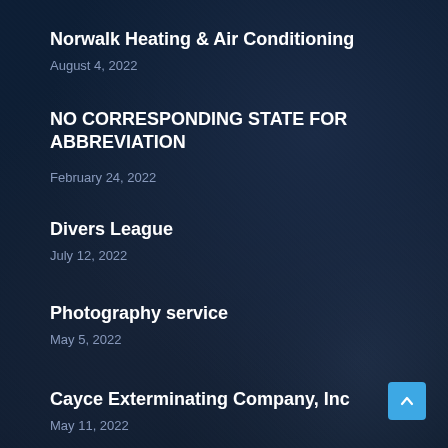Norwalk Heating & Air Conditioning
August 4, 2022
NO CORRESPONDING STATE FOR ABBREVIATION
February 24, 2022
Divers League
July 12, 2022
Photography service
May 5, 2022
Cayce Exterminating Company, Inc
May 11, 2022